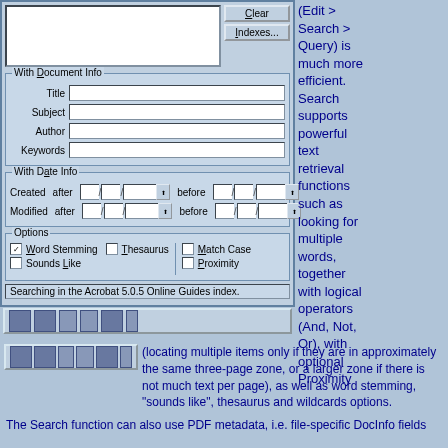[Figure (screenshot): Acrobat search dialog screenshot showing Document Info fields (Title, Subject, Author, Keywords), Date Info fields (Created after/before, Modified after/before), and Options (Word Stemming, Thesaurus, Match Case, Sounds Like, Proximity) with status bar showing 'Searching in the Acrobat 5.0.5 Online Guides index.']
(Edit > Search > Query) is much more efficient. Search supports powerful text retrieval functions such as looking for multiple words, together with logical operators (And, Not, Or), with optional Proximity
(locating multiple items only if they are in approximately the same three-page zone, or a larger zone if there is not much text per page), as well as word stemming, "sounds like", thesaurus and wildcards options.
The Search function can also use PDF metadata, i.e. file-specific DocInfo fields